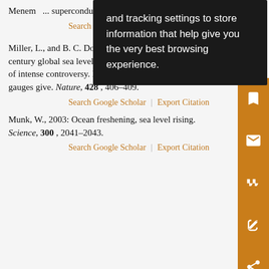Menem... superconducting... research... 96.
Search Google Scholar | Export Citation
Miller, L., and B. C. Douglas, 2004: The rate of twentieth-century global sea level rise and its causes are the subjects of intense controversy. Most direct estimates from tide gauges give. Nature, 428, 406–409.
Search Google Scholar | Export Citation
Munk, W., 2003: Ocean freshening, sea level rising. Science, 300, 2041–2043.
Search Google Scholar | Export Citation